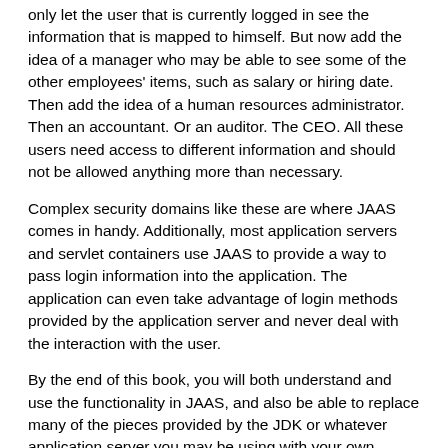only let the user that is currently logged in see the information that is mapped to himself. But now add the idea of a manager who may be able to see some of the other employees' items, such as salary or hiring date. Then add the idea of a human resources administrator. Then an accountant. Or an auditor. The CEO. All these users need access to different information and should not be allowed anything more than necessary.
Complex security domains like these are where JAAS comes in handy. Additionally, most application servers and servlet containers use JAAS to provide a way to pass login information into the application. The application can even take advantage of login methods provided by the application server and never deal with the interaction with the user.
By the end of this book, you will both understand and use the functionality in JAAS, and also be able to replace many of the pieces provided by the JDK or whatever application server you may be using with your own custom classes. The rest of this chapter covers high levels security concepts, narrowing down to JAAS at the end.
1.2 The Java 2 Security Architecture